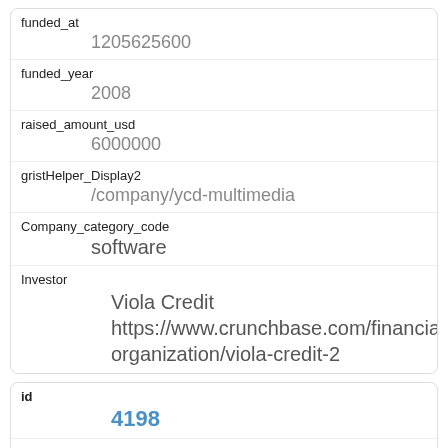| Field | Value |
| --- | --- |
| funded_at | 1205625600 |
| funded_year | 2008 |
| raised_amount_usd | 6000000 |
| gristHelper_Display2 | /company/ycd-multimedia |
| Company_category_code | software |
| Investor | Viola Credit https://www.crunchbase.com/financial-organization/viola-credit-2 |
| Field | Value |
| --- | --- |
| id | 4198 |
| manualSort | 4198 |
| Company | 1102 |